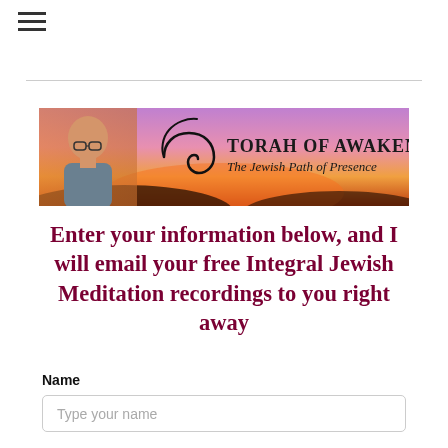[Figure (logo): Hamburger menu icon (three horizontal lines) in top left corner]
[Figure (illustration): Torah of Awakening banner with sunset sky background in purple and orange tones, a bald man with glasses on the left, a stylized spiral logo, and text reading TORAH OF AWAKENING - The Jewish Path of Presence]
Enter your information below, and I will email your free Integral Jewish Meditation recordings to you right away
Name
Type your name